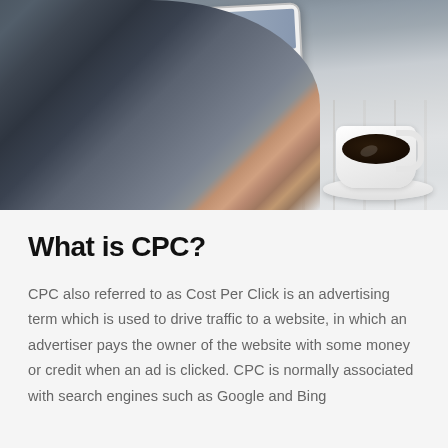[Figure (photo): Person using a tablet device on a wooden table with a cup of coffee nearby, viewed from above.]
What is CPC?
CPC also referred to as Cost Per Click is an advertising term which is used to drive traffic to a website, in which an advertiser pays the owner of the website with some money or credit when an ad is clicked. CPC is normally associated with search engines such as Google and Bing